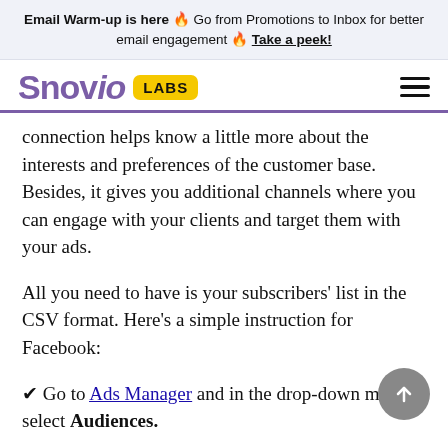Email Warm-up is here 🔥 Go from Promotions to Inbox for better email engagement 🔥 Take a peek!
[Figure (logo): Snov.io Labs logo with purple text and yellow LABS badge]
connection helps know a little more about the interests and preferences of the customer base. Besides, it gives you additional channels where you can engage with your clients and target them with your ads.
All you need to have is your subscribers' list in the CSV format. Here's a simple instruction for Facebook:
✔ Go to Ads Manager and in the drop-down menu select Audiences.